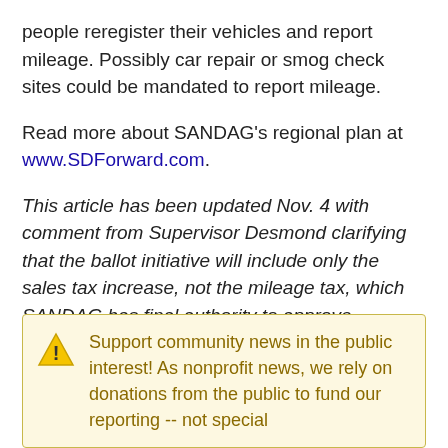people reregister their vehicles and report mileage. Possibly car repair or smog check sites could be mandated to report mileage.
Read more about SANDAG's regional plan at www.SDForward.com.
This article has been updated Nov. 4 with comment from Supervisor Desmond clarifying that the ballot initiative will include only the sales tax increase, not the mileage tax, which SANDAG has final authority to approve.
Support community news in the public interest! As nonprofit news, we rely on donations from the public to fund our reporting -- not special